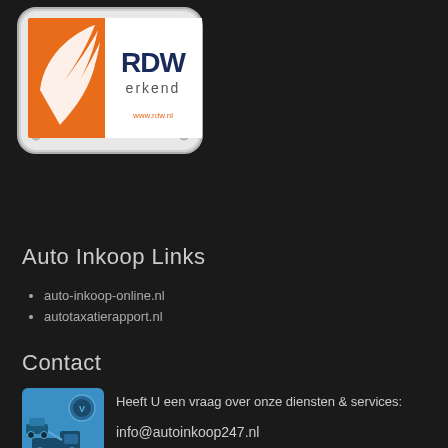[Figure (logo): RDW erkend logo — orange shield shape with white feather/leaf on left, text 'RDW erkend' in dark blue on white panel, silver metal plate border with screws, www.rdw.nl text in orange]
Auto Inkoop Links
auto-inkoop-online.nl
autotaxatierapport.nl
Contact
[Figure (illustration): Blue square icon showing a tow truck carrying a car, with a circular logo/badge in upper right corner]
Heeft U een vraag over onze diensten & services:

info@autoinkoop247.nl